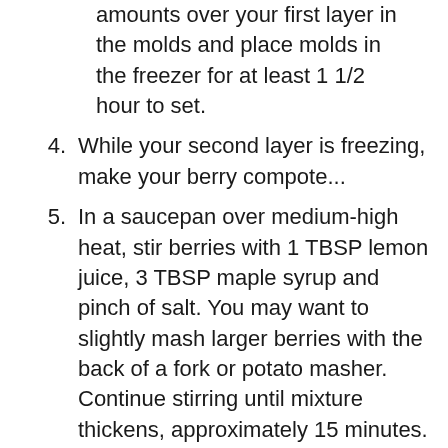amounts over your first layer in the molds and place molds in the freezer for at least 1 1/2 hour to set.
4. While your second layer is freezing, make your berry compote...
5. In a saucepan over medium-high heat, stir berries with 1 TBSP lemon juice, 3 TBSP maple syrup and pinch of salt. You may want to slightly mash larger berries with the back of a fork or potato masher. Continue stirring until mixture thickens, approximately 15 minutes. Then, refrigerate to cool while first two layers continue to freeze.
6. When your bottom layers are finally set, begin to make the third layer (leave